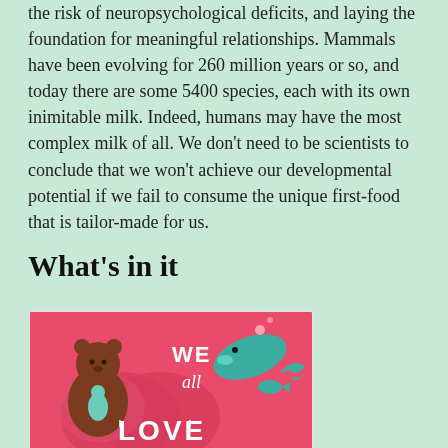the risk of neuropsychological deficits, and laying the foundation for meaningful relationships. Mammals have been evolving for 260 million years or so, and today there are some 5400 species, each with its own inimitable milk. Indeed, humans may have the most complex milk of all. We don't need to be scientists to conclude that we won't achieve our developmental potential if we fail to consume the unique first-food that is tailor-made for us.
What's in it
[Figure (illustration): Colorful illustration on a pink/red background showing a bear holding a small figure on the left, and a whale with small fish on the right. Text reads 'WE all LOVE' in white letters.]